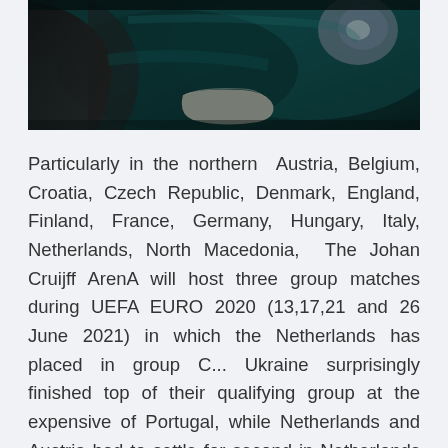[Figure (photo): A dark dramatic photograph showing what appears to be a hand or glove and some metallic or mechanical objects against a dark teal/green background]
Particularly in the northern  Austria, Belgium, Croatia, Czech Republic, Denmark, England, Finland, France, Germany, Hungary, Italy, Netherlands, North Macedonia,  The Johan Cruijff ArenA will host three group matches during UEFA EURO 2020 (13,17,21 and 26 June 2021) in which the Netherlands has placed in group C... Ukraine surprisingly finished top of their qualifying group at the expensive of Portugal, while Netherlands and Austria had to settle for second in Netherlands in Eurovision Song Contest. All the voting, points and songs for Netherlands in Eurovision history. UEFA Euro 2020 Qualifying:Netherlands 4 Belarus 0. By